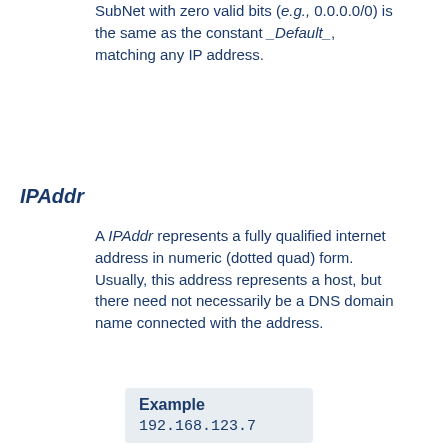SubNet with zero valid bits (e.g., 0.0.0.0/0) is the same as the constant _Default_, matching any IP address.
IPAddr
A IPAddr represents a fully qualified internet address in numeric (dotted quad) form. Usually, this address represents a host, but there need not necessarily be a DNS domain name connected with the address.
Example
192.168.123.7